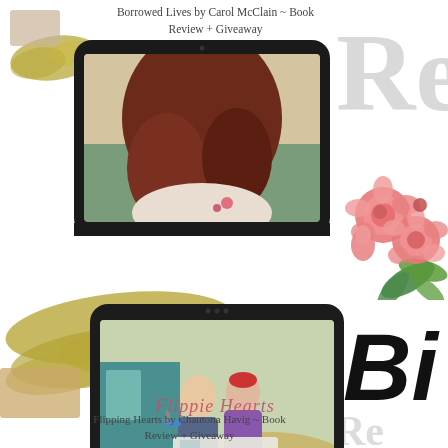Borrowed Lives by Carol McClain ~ Book Review + Giveaway
[Figure (illustration): Tablet device showing a woman with long red hair from behind, with gold brushstroke background and pink roses decoration, and large gray cursive 'Re' text on right]
[Figure (illustration): Tablet device showing a couple holding blueprints/plans outdoors, with large gold brushstroke background, large black bold italic 'Bi' text and gray cursive text on right, and script 'Flippie' overlay]
Flipping Hearts by Chautona Havig ~ Book Review + Giveaway